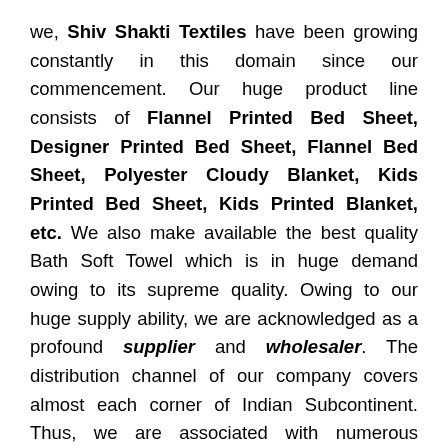we, Shiv Shakti Textiles have been growing constantly in this domain since our commencement. Our huge product line consists of Flannel Printed Bed Sheet, Designer Printed Bed Sheet, Flannel Bed Sheet, Polyester Cloudy Blanket, Kids Printed Bed Sheet, Kids Printed Blanket, etc. We also make available the best quality Bath Soft Towel which is in huge demand owing to its supreme quality. Owing to our huge supply ability, we are acknowledged as a profound supplier and wholesaler. The distribution channel of our company covers almost each corner of Indian Subcontinent. Thus, we are associated with numerous customers who admire us for our creations and services. Their satisfaction has always been our utmost concern for which we work with complete focus. Being one of the oldest companies, we are famous our perfection-focused approach. Across the country, our name is used to define the excellence and value of commitment. Each service promised by our personnel is rendered at any